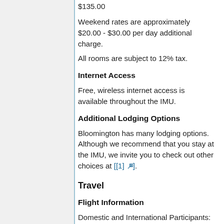$135.00
Weekend rates are approximately $20.00 - $30.00 per day additional charge.
All rooms are subject to 12% tax.
Internet Access
Free, wireless internet access is available throughout the IMU.
Additional Lodging Options
Bloomington has many lodging options. Although we recommend that you stay at the IMU, we invite you to check out other choices at [[1] external link].
Travel
Flight Information
Domestic and International Participants: Most participants will find that traveling